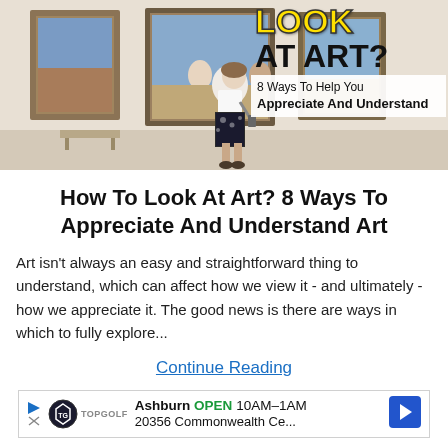[Figure (photo): A woman standing in an art gallery viewing framed paintings on the wall, with text overlay reading 'HOW TO LOOK AT ART? 8 Ways To Help You Appreciate And Understand']
How To Look At Art? 8 Ways To Appreciate And Understand Art
Art isn't always an easy and straightforward thing to understand, which can affect how we view it - and ultimately - how we appreciate it. The good news is there are ways in which to fully explore...
Continue Reading
[Figure (infographic): Advertisement bar: Topgolf logo with Ashburn OPEN 10AM-1AM, 20356 Commonwealth Ce... with navigation arrow icon]